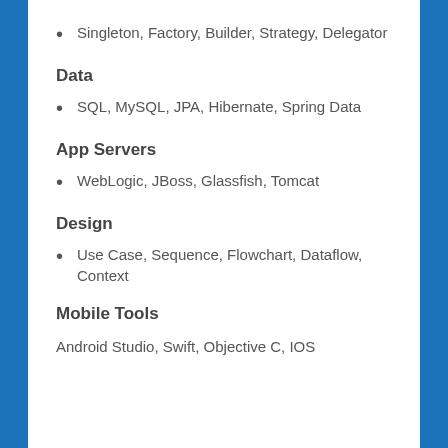Singleton, Factory, Builder, Strategy, Delegator
Data
SQL, MySQL, JPA, Hibernate, Spring Data
App Servers
WebLogic, JBoss, Glassfish, Tomcat
Design
Use Case, Sequence, Flowchart, Dataflow, Context
Mobile Tools
Android Studio, Swift, Objective C, IOS